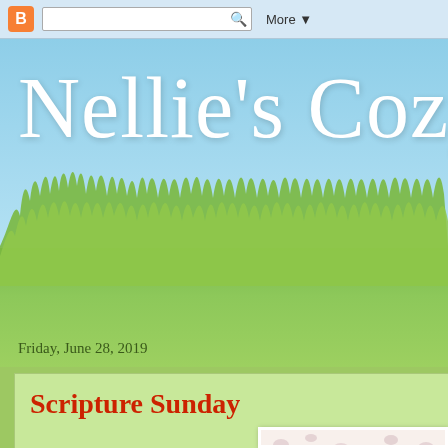B [search box] More ▼
Nellie's Cozy Plac
Friday, June 28, 2019
Scripture Sunday
[Figure (photo): Photograph of pink roses on a floral patterned background]